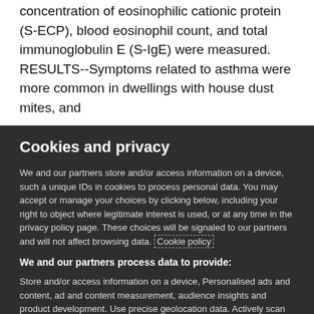concentration of eosinophilic cationic protein (S-ECP), blood eosinophil count, and total immunoglobulin E (S-IgE) were measured. RESULTS--Symptoms related to asthma were more common in dwellings with house dust mites, and
Cookies and privacy
We and our partners store and/or access information on a device, such a unique IDs in cookies to process personal data. You may accept or manage your choices by clicking below, including your right to object where legitimate interest is used, or at any time in the privacy policy page. These choices will be signaled to our partners and will not affect browsing data. Cookie policy
We and our partners process data to provide:
Store and/or access information on a device, Personalised ads and content, ad and content measurement, audience insights and product development. Use precise geolocation data. Actively scan device characteristics for identification
List of Partners (vendors)